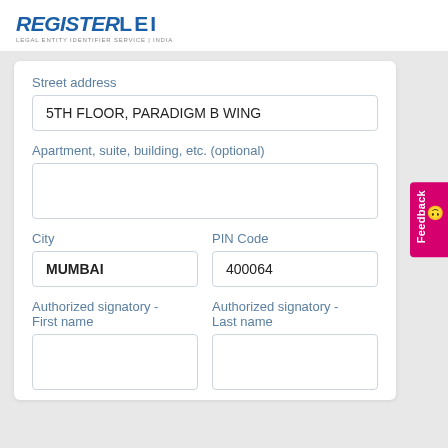[Figure (logo): RegisterLEI logo with tagline 'Legal Entity Identifier Service India']
Street address
5TH FLOOR, PARADIGM B WING
Apartment, suite, building, etc. (optional)
City
MUMBAI
PIN Code
400064
Authorized signatory - First name
Authorized signatory - Last name